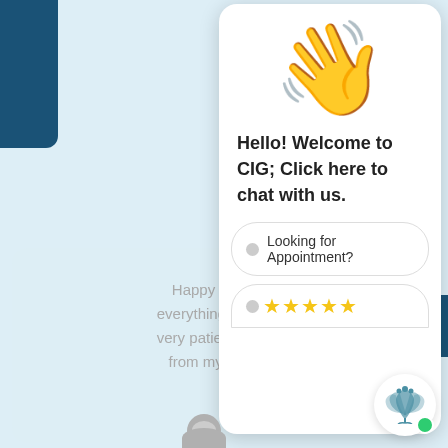[Figure (screenshot): Chat widget popup showing a waving hand emoji, welcome message from CIG, appointment option buttons with star rating, lotus logo with green online indicator, and a partial review card on the left side with gray text]
Hello! Welcome to CIG; Click here to chat with us.
Looking for Appointment?
Happy with everything es very patience from my sid